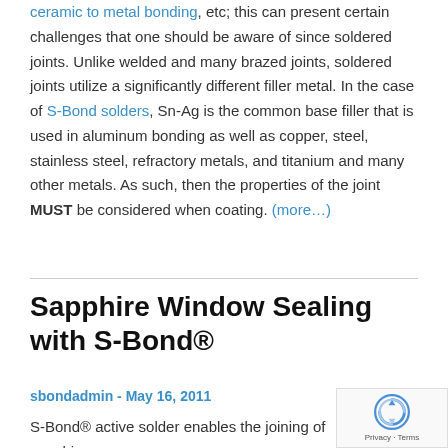ceramic to metal bonding, etc; this can present certain challenges that one should be aware of since soldered joints. Unlike welded and many brazed joints, soldered joints utilize a significantly different filler metal. In the case of S-Bond solders, Sn-Ag is the common base filler that is used in aluminum bonding as well as copper, steel, stainless steel, refractory metals, and titanium and many other metals. As such, then the properties of the joint MUST be considered when coating. (more…)
Sapphire Window Sealing with S-Bond®
sbondadmin - May 16, 2011
S-Bond® active solder enables the joining of sapphir…